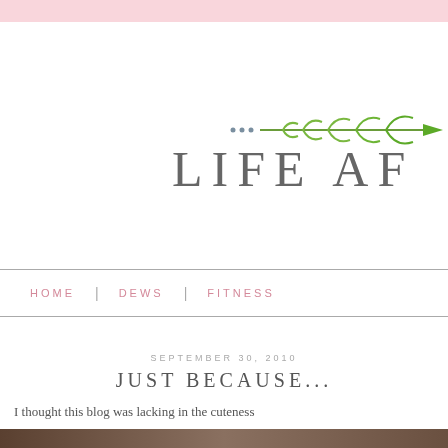[Figure (illustration): Decorative green leaf/arrow branch illustration]
LIFE AF
HOME  |  DEWS  |  FITNESS
SEPTEMBER 30, 2010
JUST BECAUSE...
I thought this blog was lacking in the cuteness
[Figure (photo): Bottom image strip, partially visible]